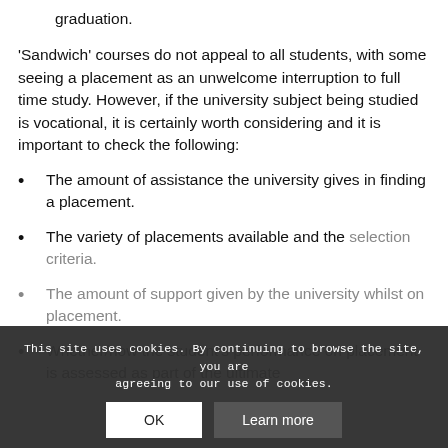graduation.
'Sandwich' courses do not appeal to all students, with some seeing a placement as an unwelcome interruption to full time study. However, if the university subject being studied is vocational, it is certainly worth considering and it is important to check the following:
The amount of assistance the university gives in finding a placement.
The variety of placements available and the selection criteria.
The amount of support given by the university whilst on placement.
Whether/how the student's performance on placement is assessed as part of the ultimate